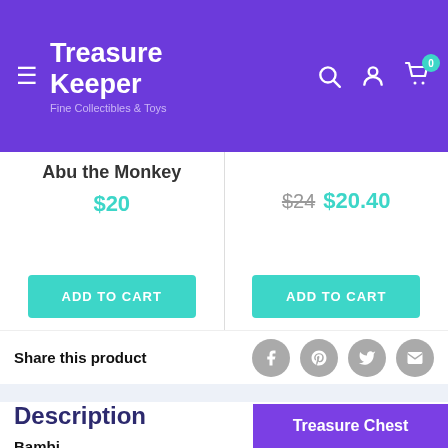Treasure Keeper — Fine Collectibles & Toys
Abu the Monkey
$20
$24  $20.40
ADD TO CART
ADD TO CART
Share this product
Description
Bambi
Treasure Chest